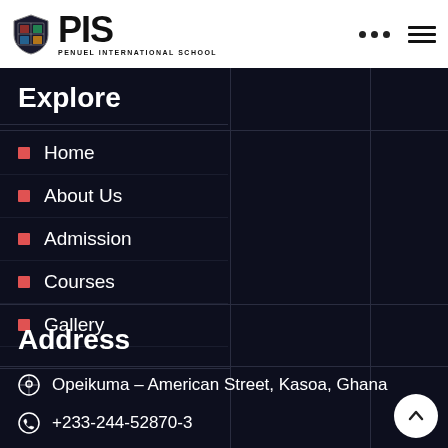[Figure (logo): PIS Penuel International School logo with shield emblem and bold PIS text]
Explore
Home
About Us
Admission
Courses
Gallery
Address
Opeikuma - American Street, Kasoa, Ghana
+233-244-52870-3